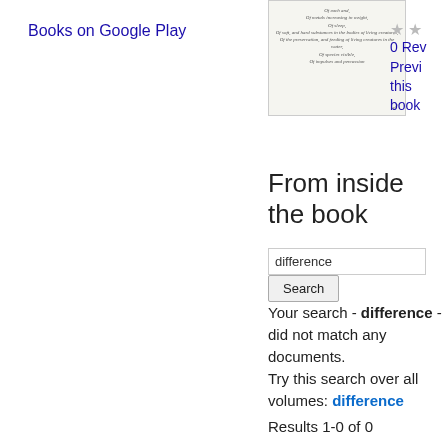Books on Google Play
[Figure (illustration): Book cover thumbnail showing a table of contents page with italic text lines]
0 Reviews
Preview this book
From inside the book
difference
Search
Your search - difference - did not match any documents.
Try this search over all volumes: difference
Results 1-0 of 0